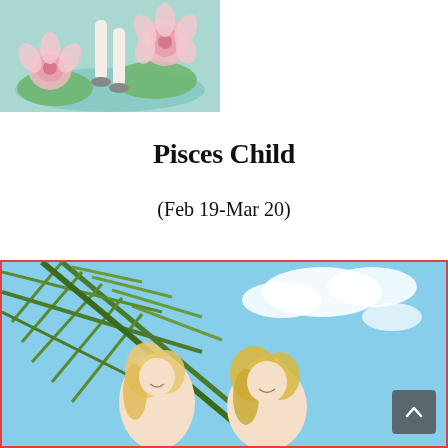[Figure (illustration): Illustration of a person's legs walking on water lilies with pink lotus flowers on a teal/aqua background]
Pisces Child
(Feb 19-Mar 20)
[Figure (photo): Photo of two blonde women smiling outdoors with a palm frond and blue sky in the background. A red border frames the image. A scroll-to-top button (dark gray with up arrow) is in the bottom right corner.]